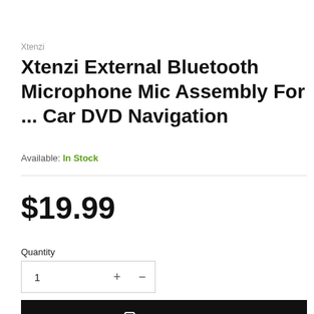Xtenzi
Xtenzi External Bluetooth Microphone Mic Assembly For ... Car DVD Navigation
Available: In Stock
$19.99
Quantity
1
Add to cart
Want it delivered by Wednesday, 24 August